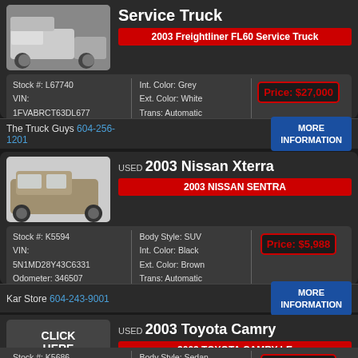Service Truck
2003 Freightliner FL60 Service Truck
| Stock/VIN/Odometer | Int/Ext/Trans | Price |
| --- | --- | --- |
| Stock #: L67740
VIN: 1FVABRCT63DL677
Odometer: 238366 | Int. Color: Grey
Ext. Color: White
Trans: Automatic | Price: $27,000 |
The Truck Guys 604-256-1201
USED 2003 Nissan Xterra
2003 NISSAN SENTRA
| Stock/VIN/Odometer | Body/Int/Ext/Trans | Price |
| --- | --- | --- |
| Stock #: K5594
VIN: 5N1MD28Y43C6331
Odometer: 346507 | Body Style: SUV
Int. Color: Black
Ext. Color: Brown
Trans: Automatic | Price: $5,988 |
Kar Store 604-243-9001
USED 2003 Toyota Camry
2003 TOYOTA CAMRY LE
| Stock/VIN | Body/Ext | Price |
| --- | --- | --- |
| Stock #: K5686
VIN: JTDBE32K93021939 | Body Style: Sedan
Ext. Color: White | Price: $4,988 |